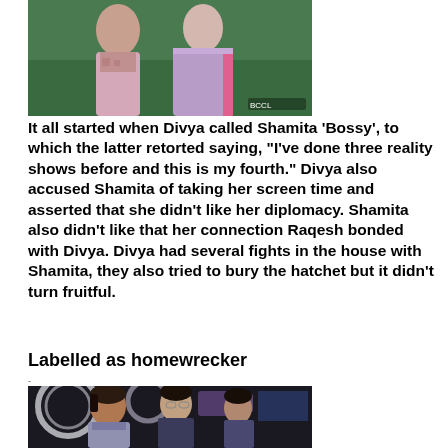[Figure (photo): Two women in Indian attire, one in a light purple/lavender saree, photographed outdoors with green background]
It all started when Divya called Shamita ‘Bossy’, to which the latter retorted saying, “I’ve done three reality shows before and this is my fourth.” Divya also accused Shamita of taking her screen time and asserted that she didn’t like her diplomacy. Shamita also didn’t like that her connection Raqesh bonded with Divya. Divya had several fights in the house with Shamita, they also tried to bury the hatchet but it didn’t turn fruitful.
Labelled as homewrecker
[Figure (photo): Three people sitting in what appears to be a reality TV show set with circular lights in the background. A man in the center with two women on either side, all looking concerned or serious.]